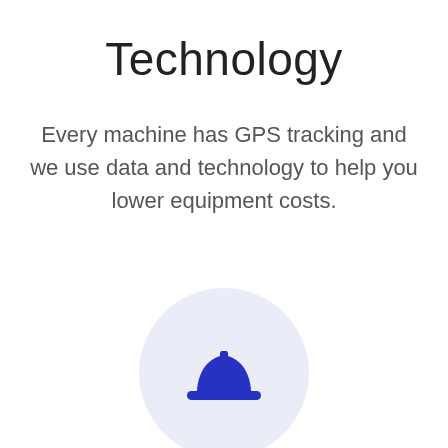Technology
Every machine has GPS tracking and we use data and technology to help you lower equipment costs.
[Figure (illustration): A blue hard hat / construction helmet icon centered inside a light lavender circle background]